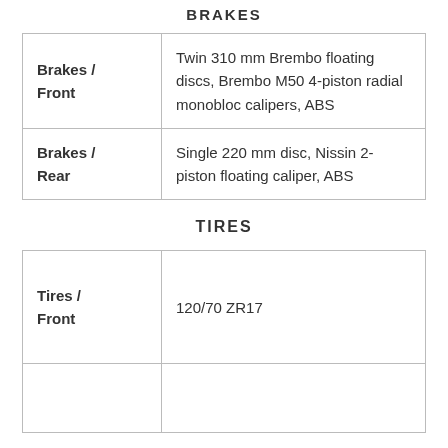BRAKES
| Brakes / Front | Twin 310 mm Brembo floating discs, Brembo M50 4-piston radial monobloc calipers, ABS |
| Brakes / Rear | Single 220 mm disc, Nissin 2-piston floating caliper, ABS |
TIRES
| Tires / Front | 120/70 ZR17 |